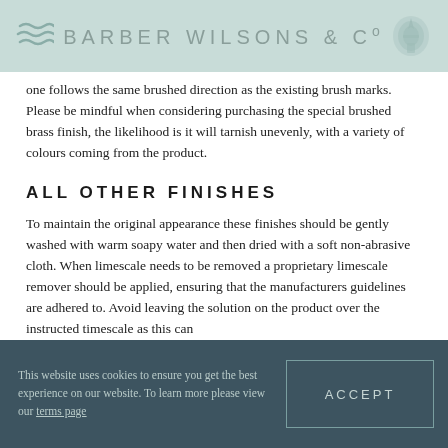BARBER WILSONS & Co
one follows the same brushed direction as the existing brush marks. Please be mindful when considering purchasing the special brushed brass finish, the likelihood is it will tarnish unevenly, with a variety of colours coming from the product.
ALL OTHER FINISHES
To maintain the original appearance these finishes should be gently washed with warm soapy water and then dried with a soft non-abrasive cloth. When limescale needs to be removed a proprietary limescale remover should be applied, ensuring that the manufacturers guidelines are adhered to. Avoid leaving the solution on the product over the instructed timescale as this can
This website uses cookies to ensure you get the best experience on our website. To learn more please view our terms page
ACCEPT